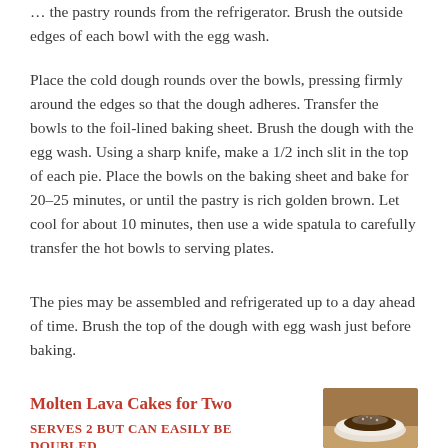... the pastry rounds from the refrigerator. Brush the outside edges of each bowl with the egg wash.
Place the cold dough rounds over the bowls, pressing firmly around the edges so that the dough adheres. Transfer the bowls to the foil-lined baking sheet. Brush the dough with the egg wash. Using a sharp knife, make a 1/2 inch slit in the top of each pie. Place the bowls on the baking sheet and bake for 20–25 minutes, or until the pastry is rich golden brown. Let cool for about 10 minutes, then use a wide spatula to carefully transfer the hot bowls to serving plates.
The pies may be assembled and refrigerated up to a day ahead of time. Brush the top of the dough with egg wash just before baking.
Molten Lava Cakes for Two
SERVES 2 BUT CAN EASILY BE DOUBLED
[Figure (photo): Photo of a molten lava cake in a white bowl dusted with powdered sugar]